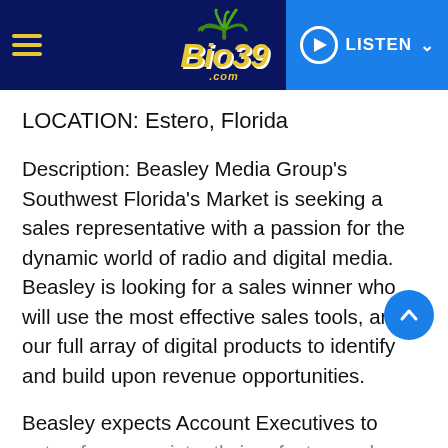Bio39.com — LISTEN
LOCATION: Estero, Florida
Description: Beasley Media Group's Southwest Florida's Market is seeking a sales representative with a passion for the dynamic world of radio and digital media. Beasley is looking for a sales winner who will use the most effective sales tools, and our full array of digital products to identify and build upon revenue opportunities.
Beasley expects Account Executives to outperform consistently in a fast-paced...